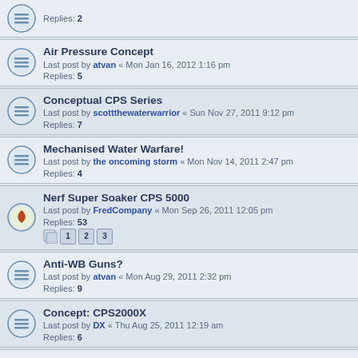Replies: 2
Air Pressure Concept
Last post by atvan « Mon Jan 16, 2012 1:16 pm
Replies: 5
Conceptual CPS Series
Last post by scottthewaterwarrior « Sun Nov 27, 2011 9:12 pm
Replies: 7
Mechanised Water Warfare!
Last post by the oncoming storm « Mon Nov 14, 2011 2:47 pm
Replies: 4
Nerf Super Soaker CPS 5000
Last post by FredCompany « Mon Sep 26, 2011 12:05 pm
Replies: 53  [pages 1 2 3]
Anti-WB Guns?
Last post by atvan « Mon Aug 29, 2011 2:32 pm
Replies: 9
Concept: CPS2000X
Last post by DX « Thu Aug 25, 2011 12:19 am
Replies: 6
More Mr Dude Fantasies, Air Pressure Line Coming up
Last post by mr. dude « Tue Aug 23, 2011 8:14 pm
Replies: 14
Hybrid CPS + Prechargers?
Last post by atvan « Wed Aug 17, 2011 5:44 pm
Replies: 13
Concept: Water Warriors Radon (?)
Last post by mr. dude « Tue Jul 12, 2011 10:51 pm